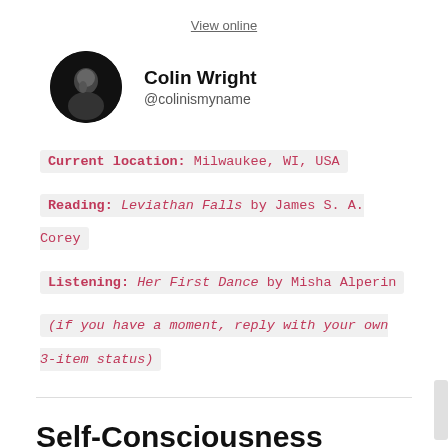View online
[Figure (photo): Circular avatar photo of Colin Wright, black and white, person in dark clothing]
Colin Wright
@colinismyname
Current location: Milwaukee, WI, USA
Reading: Leviathan Falls by James S. A. Corey
Listening: Her First Dance by Misha Alperin
(if you have a moment, reply with your own 3-item status)
Self-Consciousness